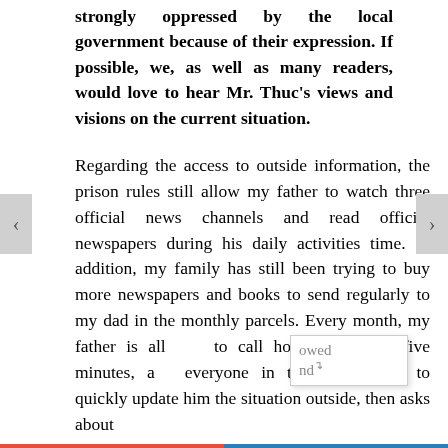strongly oppressed by the local government because of their expression. If possible, we, as well as many readers, would love to hear Mr. Thuc's views and visions on the current situation.
Regarding the access to outside information, the prison rules still allow my father to watch three official news channels and read official newspapers during his daily activities time. In addition, my family has still been trying to buy more newspapers and books to send regularly to my dad in the monthly parcels. Every month, my father is allowed to call home for about five minutes, and everyone in the house tries to quickly update him the situation outside, then asks about